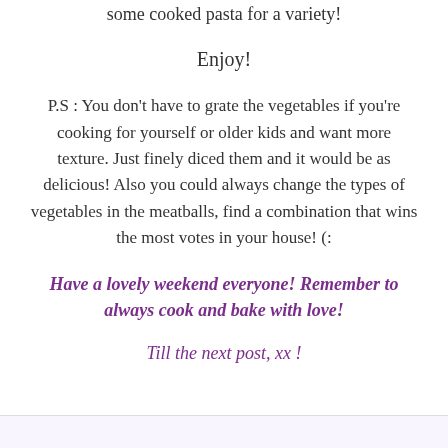some cooked pasta for a variety!
Enjoy!
P.S : You don’t have to grate the vegetables if you’re cooking for yourself or older kids and want more texture. Just finely diced them and it would be as delicious! Also you could always change the types of vegetables in the meatballs, find a combination that wins the most votes in your house! (:
Have a lovely weekend everyone! Remember to always cook and bake with love!
Till the next post, xx !